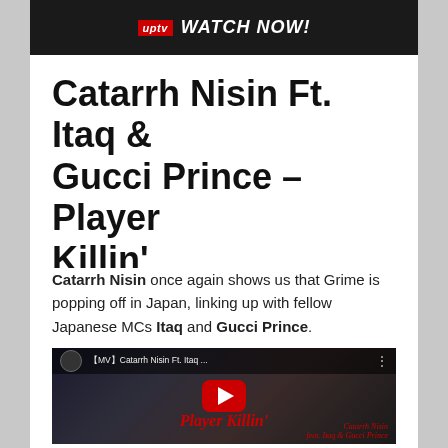[Figure (screenshot): Top banner with UPTV logo in red and 'WATCH NOW!' text in white italic bold on dark background]
Catarrh Nisin Ft. Itaq & Gucci Prince – Player Killin'
Catarrh Nisin once again shows us that Grime is popping off in Japan, linking up with fellow Japanese MCs Itaq and Gucci Prince.
[Figure (screenshot): YouTube video embed showing 'MV Catarrh Nisin Ft. Itaq ...' with Player Killin' text and play button, featuring Catarrh Nisin feat. Itaq & Gucci Prince text]